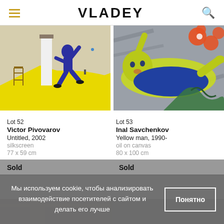VLADEY
[Figure (illustration): Painting showing a figure in dark blue suit leaping/running on a yellow surface with a chair, white vertical shape, and small figures in background on grey-beige background]
[Figure (illustration): Painting showing a yellow-skinned figure reclining/crawling on grey background with orange flowers and green organic shapes]
Lot 52
Victor Pivovarov
Untitled, 2002
silkscreen
77 x 59 cm
Lot 53
Inal Savchenkov
Yellow man, 1990-
oil on canvas
80 x 100 cm
Sold
Sold
Мы используем cookie, чтобы анализировать взаимодействие посетителей с сайтом и делать его лучше
Понятно